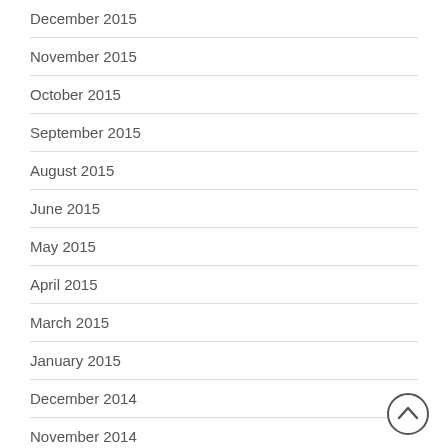December 2015
November 2015
October 2015
September 2015
August 2015
June 2015
May 2015
April 2015
March 2015
January 2015
December 2014
November 2014
October 2014